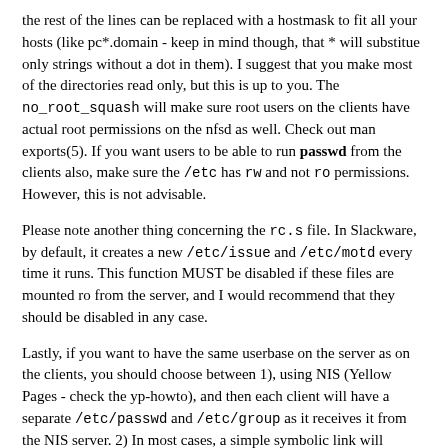the rest of the lines can be replaced with a hostmask to fit all your hosts (like pc*.domain - keep in mind though, that * will substitue only strings without a dot in them). I suggest that you make most of the directories read only, but this is up to you. The no_root_squash will make sure root users on the clients have actual root permissions on the nfsd as well. Check out man exports(5). If you want users to be able to run passwd from the clients also, make sure the /etc has rw and not ro permissions. However, this is not advisable.
Please note another thing concerning the rc.s file. In Slackware, by default, it creates a new /etc/issue and /etc/motd every time it runs. This function MUST be disabled if these files are mounted ro from the server, and I would recommend that they should be disabled in any case.
Lastly, if you want to have the same userbase on the server as on the clients, you should choose between 1), using NIS (Yellow Pages - check the yp-howto), and then each client will have a separate /etc/passwd and /etc/group as it receives it from the NIS server. 2) In most cases, a simple symbolic link will suffice. Therefore, you will need to either hardlink /clients/etc/passwd to /etc/passwd, or if you prefer a symlink, link /etc/passwd to /clients/etc/passwd (and not the other way around, since the clients do not mount the server's etc directory). Do the same for